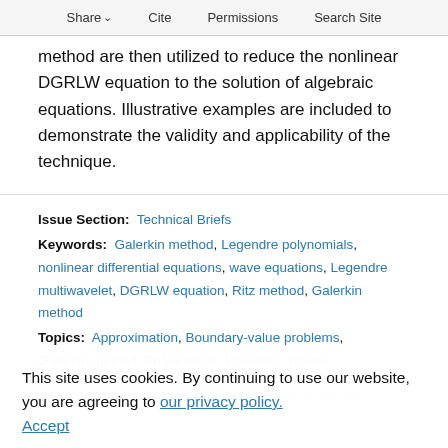Share  Cite  Permissions  Search Site
method are then utilized to reduce the nonlinear DGRLW equation to the solution of algebraic equations. Illustrative examples are included to demonstrate the validity and applicability of the technique.
Issue Section: Technical Briefs
Keywords: Galerkin method, Legendre polynomials, nonlinear differential equations, wave equations, Legendre multiwavelet, DGRLW equation, Ritz method, Galerkin method
Topics: Approximation, Boundary-value problems, Galerkin method, Polynomials, Wavelets, Waves,
This site uses cookies. By continuing to use our website, you are agreeing to our privacy policy. Accept